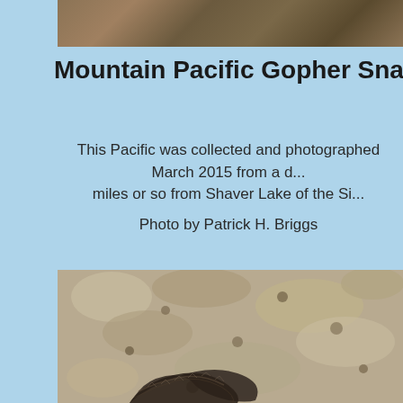[Figure (photo): Top portion of a rocky terrain photo, cropped at top of page]
Mountain Pacific Gopher Snake below
This Pacific was collected and photographed March 2015 from a d... miles or so from Shaver Lake of the Si...
Photo by Patrick H. Briggs
[Figure (photo): Close-up photo of a Mountain Pacific Gopher Snake coiled on rocky/gravelly ground]